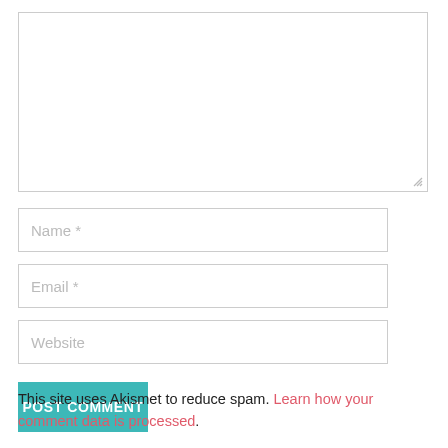[Figure (screenshot): Comment form textarea (large empty text input box with resize handle)]
[Figure (screenshot): Name input field with placeholder 'Name *']
[Figure (screenshot): Email input field with placeholder 'Email *']
[Figure (screenshot): Website input field with placeholder 'Website']
[Figure (screenshot): POST COMMENT button in teal/cyan color]
This site uses Akismet to reduce spam. Learn how your comment data is processed.